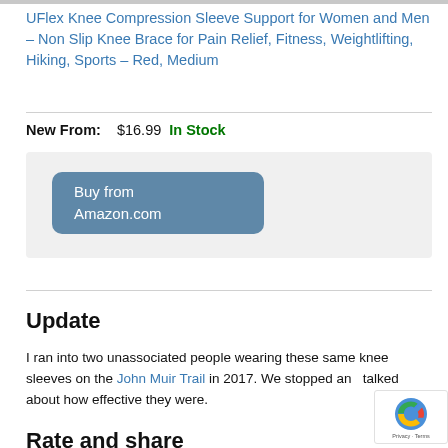UFlex Knee Compression Sleeve Support for Women and Men – Non Slip Knee Brace for Pain Relief, Fitness, Weightlifting, Hiking, Sports – Red, Medium
New From:    $16.99 In Stock
[Figure (other): Buy from Amazon.com button inside a gray box]
Update
I ran into two unassociated people wearing these same knee sleeves on the John Muir Trail in 2017. We stopped and talked about how effective they were.
Rate and share